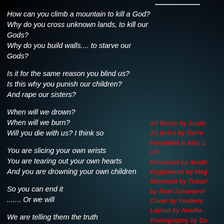How can you climb a mountain to kill a God?
Why do you cross unknown lands, to kill our Gods?
Why do you build walls.... to starve our Gods?
Is it for the same reason you blind us?
Is this why you punish our children?
And rape our sisters?
When will we drown?
When will we burn?
Will you die with us? I think so
You are slicing your own wrists
You are tearing out your own hearts
And you are drowning your own children
So you can end it
....... Or we will
We are telling them the truth
And revealing all your lies
We do not need to climb a mountain
All Music by Anath
All lyrics by Darre
Recorded in May 1 UK.
Produced by Anath
Engineered by Mag
Mastered by Transf
by Noel Sommervi
Cover by Frederic
Layout by Anathe
Photography by Da
All tracks publishe
Coming soon: "Ri